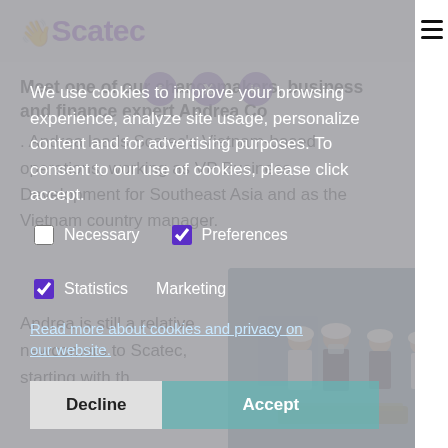Scatec
We use cookies to improve your browsing experience, analyze site usage, personalize content and for advertising purposes. To consent to our use of cookies, please click accept.
Necessary   Preferences   Statistics   Marketing
Read more about cookies and privacy on our website.
Decline   Accept
Meet one of our changemakers, business and finance expert Andrea Co
Andrea leads Scatec's Vietnam-based operations, working as VP Business Development for Southeast Asia and as the Vietnam country manager.
Andrea is still a relative newcomers to Scatec, starting with th
[Figure (photo): Workers in hard hats and safety vests in an industrial setting]